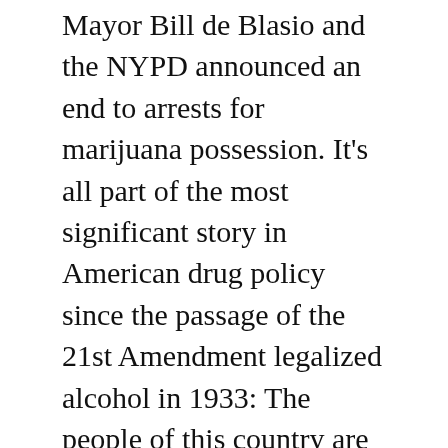Mayor Bill de Blasio and the NYPD announced an end to arrests for marijuana possession. It's all part of the most significant story in American drug policy since the passage of the 21st Amendment legalized alcohol in 1933: The people of this country are leading a dramatic de-escalation in the War on Drugs. New York City Police Commissioner Bill Bratton and Mayor de Blasio announced that the city will start giving out tickets (and court summons) rather than arresting people for possession of 25 grams of marijuana and under. Spencer Platt/Getty November's election results have teed up pot prohibition as a potent campaign issue for 2016. Notwithstanding the House GOP's contested effort to preserve pot prohibition in D.C., the flowering of the marijuana-legalization movement is creating space